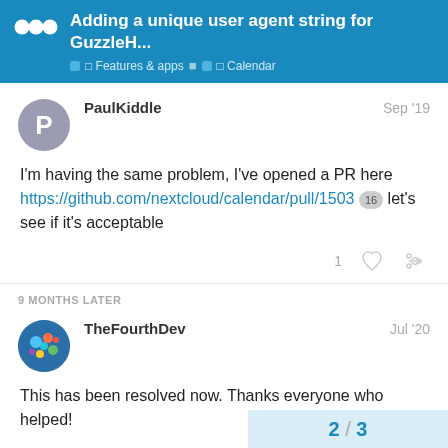Adding a unique user agent string for GuzzleH... | Features & apps | Calendar
PaulKiddle Sep '19
I'm having the same problem, I've opened a PR here https://github.com/nextcloud/calendar/pull/1503 16 let's see if it's acceptable
9 MONTHS LATER
TheFourthDev Jul '20
This has been resolved now. Thanks everyone who helped!
2 / 3